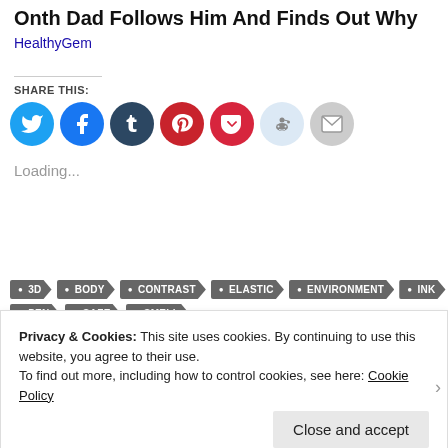Onth Dad Follows Him And Finds Out Why
HealthyGem
SHARE THIS:
[Figure (infographic): Social share icons: Twitter (cyan), Facebook (blue), Tumblr (dark blue), Pinterest (red), Pocket (red), Reddit (light blue), Email (gray)]
Loading...
● 3D
● BODY
● CONTRAST
● ELASTIC
● ENVIRONMENT
● INK
● PEN
● SAFE
● SMELL
Privacy & Cookies: This site uses cookies. By continuing to use this website, you agree to their use.
To find out more, including how to control cookies, see here: Cookie Policy
Close and accept